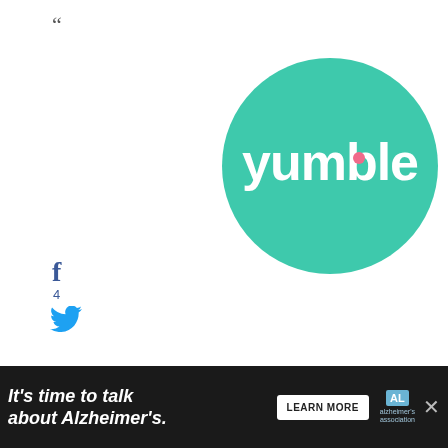“
[Figure (logo): Yumble logo: teal/green circle with white text 'yumble' in rounded lowercase font with a small pink dot accent]
f 4
Twitter bird icon
Pinterest P icon 2
Yum icon (orange stylized text)
6
SHARES
LEAVE A REPLY
Your email address will not be published. Required fields are marked *
Comment *
[Figure (other): Dark navy circle button with white heart icon]
7
[Figure (other): White circle button with share/network icon]
It’s time to talk about Alzheimer’s. LEARN MORE [Alzheimer’s Association ad banner]